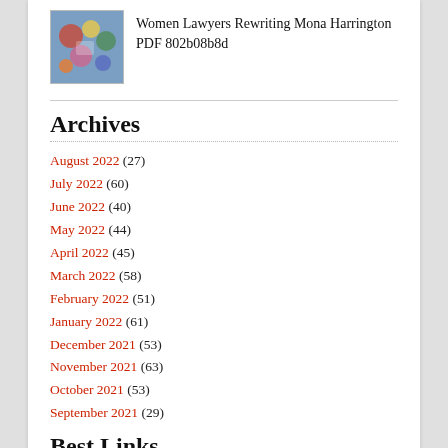[Figure (photo): Thumbnail image of book cover with colorful abstract/collage art]
Women Lawyers Rewriting Mona Harrington PDF 802b08b8d
Archives
August 2022 (27)
July 2022 (60)
June 2022 (40)
May 2022 (44)
April 2022 (45)
March 2022 (58)
February 2022 (51)
January 2022 (61)
December 2021 (53)
November 2021 (63)
October 2021 (53)
September 2021 (29)
Best Links